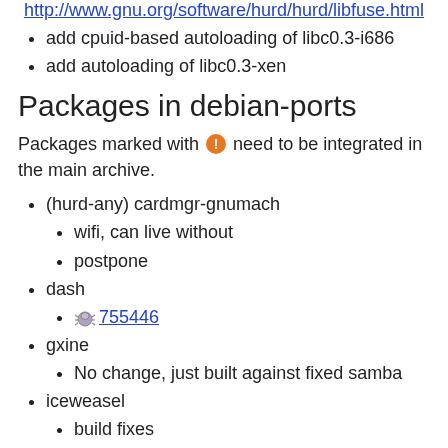http://www.gnu.org/software/hurd/hurd/libfuse.html
add cpuid-based autoloading of libc0.3-i686
add autoloading of libc0.3-xen
Packages in debian-ports
Packages marked with [!] need to be integrated in the main archive.
(hurd-any) cardmgr-gnumach
wifi, can live without
postpone
dash
[bug] 755446
gxine
No change, just built against fixed samba
iceweasel
build fixes
[bug] 854331